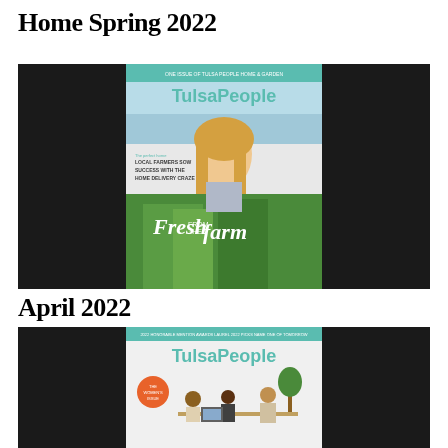Home Spring 2022
[Figure (photo): TulsaPeople magazine cover - Home Spring 2022. Features a woman smiling over a garden bed with fresh greens. Headline reads 'LOCAL FARMERS SOW SUCCESS WITH THE HOME DELIVERY CRAZE'. Cover title text 'Fresh FROM THE farm' in script font. Teal and white TulsaPeople logo at top.]
April 2022
[Figure (photo): TulsaPeople magazine cover - April 2022. Features people in an office/workplace setting with a plant. TulsaPeople logo in teal at top. Orange circular badge on left side.]